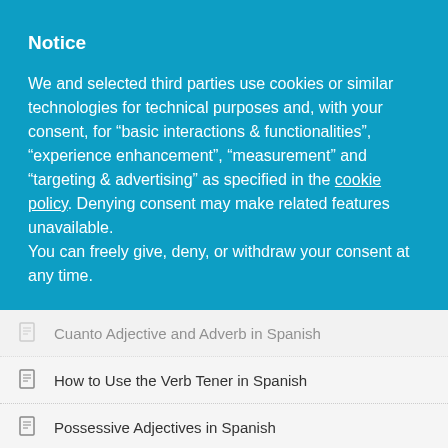Notice
We and selected third parties use cookies or similar technologies for technical purposes and, with your consent, for “basic interactions & functionalities”, “experience enhancement”, “measurement” and “targeting & advertising” as specified in the cookie policy. Denying consent may make related features unavailable.
You can freely give, deny, or withdraw your consent at any time.
Reject
Accept
Learn more and customize
Cuanto Adjective and Adverb in Spanish
How to Use the Verb Tener in Spanish
Possessive Adjectives in Spanish